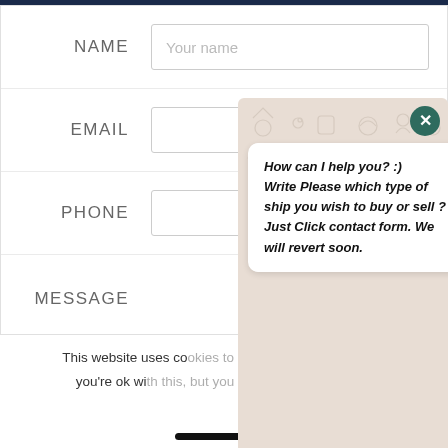NAME
Your name
EMAIL
PHONE
MESSAGE
[Figure (screenshot): WhatsApp chat widget overlay with close button and message bubble saying: How can I help you? :) Write Please which type of ship you wish to buy or sell ? Just Click contact form. We will revert soon.]
This website uses co you're ok wi
[Figure (other): Dark navy blue rectangular button]